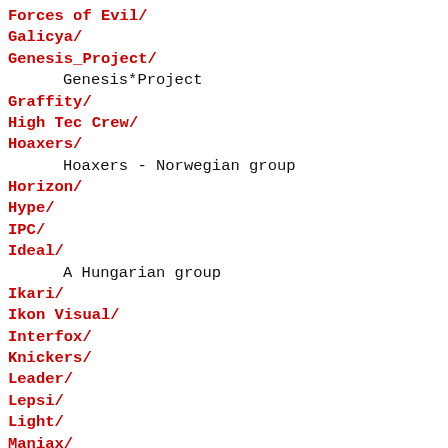Forces of Evil/
Galicya/
Genesis_Project/
Genesis*Project
Graffity/
High Tec Crew/
Hoaxers/
Hoaxers - Norwegian group
Horizon/
Hype/
IPC/
Ideal/
A Hungarian group
Ikari/
Ikon Visual/
Interfox/
Knickers/
Leader/
Lepsi/
Light/
Maniax/
Masters' Design Group/
Megastyle Inc/
Megaunit/